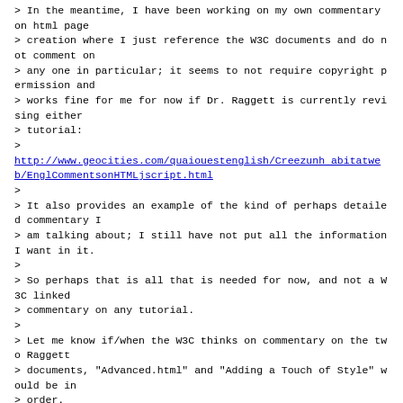> In the meantime, I have been working on my own commentary on html page
> creation where I just reference the W3C documents and do not comment on
> any one in particular; it seems to not require copyright permission and
> works fine for me for now if Dr. Raggett is currently revising either
> tutorial:
>
http://www.geocities.com/quaiouestenglish/Creezunhabitatweb/EnglCommentsonHTMLjscript.html
>
> It also provides an example of the kind of perhaps detailed commentary I
> am talking about; I still have not put all the information I want in it.
>
> So perhaps that is all that is needed for now, and not a W3C linked
> commentary on any tutorial.
>
> Let me know if/when the W3C thinks on commentary on the two Raggett
> documents, "Advanced.html" and "Adding a Touch of Style" would be in
> order.
>
> Thanks.